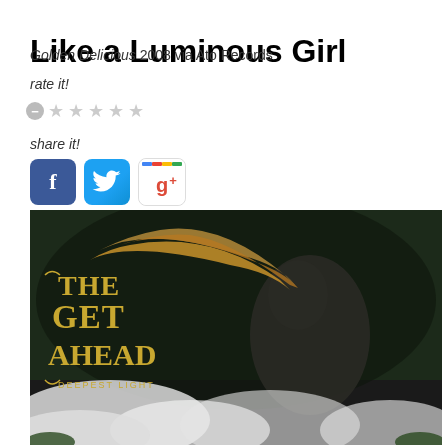Like a Luminous Girl
Golden Delicious 2008 via Ato Records
rate it!
[Figure (other): Star rating widget with minus button and 5 empty gray stars]
share it!
[Figure (other): Social sharing buttons: Facebook (blue f), Twitter (bird logo), Google+ (g+ with colorbar)]
[Figure (photo): Album cover for The Get Ahead - Deepest Light. A woman with long flowing hair stands silhouetted against a dark, atmospheric background with white mist/smoke at the bottom. Band name 'The Get Ahead' in gold decorative lettering on the left, 'Deepest Light' in small gold text below.]